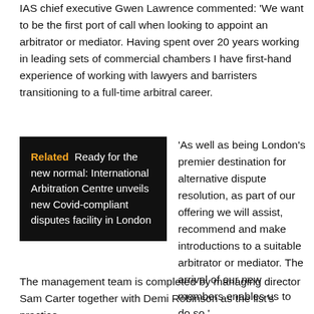IAS chief executive Gwen Lawrence commented: 'We want to be the first port of call when looking to appoint an arbitrator or mediator. Having spent over 20 years working in leading sets of commercial chambers I have first-hand experience of working with lawyers and barristers transitioning to a full-time arbitral career.
[Figure (other): Related box with dark background: 'Related  Ready for the new normal: International Arbitration Centre unveils new Covid-compliant disputes facility in London']
'As well as being London's premier destination for alternative dispute resolution, as part of our offering we will assist, recommend and make introductions to a suitable arbitrator or mediator. The arrival of our new members enables us to do so.'
The management team is completed by managing director Sam Carter together with Demi Robinson as the list's practice